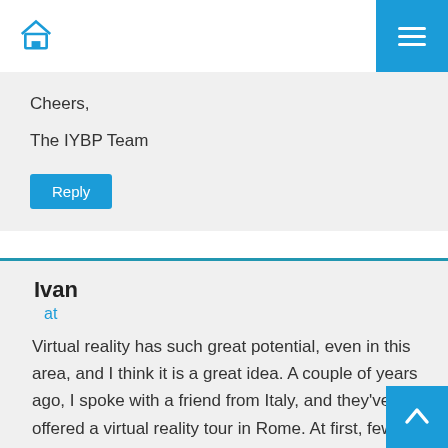Home | Menu
Cheers,

The IYBP Team
Reply
Ivan
at
Virtual reality has such great potential, even in this area, and I think it is a great idea. A couple of years ago, I spoke with a friend from Italy, and they've offered a virtual reality tour in Rome. At first, few people were interested, but when the Coronavirus came, they were selling like...